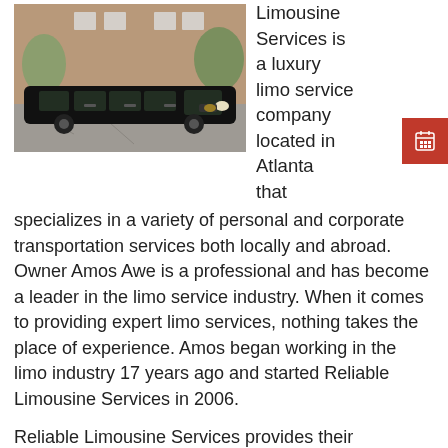[Figure (photo): A black stretch limousine parked on a driveway in front of a brick house with trees in the background.]
Limousine Services is a luxury limo service company located in Atlanta that specializes in a variety of personal and corporate transportation services both locally and abroad. Owner Amos Awe is a professional and has become a leader in the limo service industry. When it comes to providing expert limo services, nothing takes the place of experience. Amos began working in the limo industry 17 years ago and started Reliable Limousine Services in 2006.
Reliable Limousine Services provides their customers with...